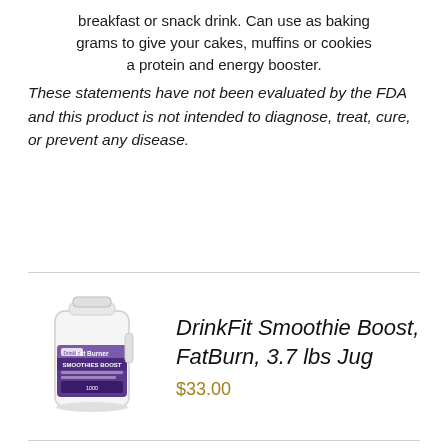breakfast or snack drink. Can use as baking grams to give your cakes, muffins or cookies a protein and energy booster.
These statements have not been evaluated by the FDA and this product is not intended to diagnose, treat, cure, or prevent any disease.
[Figure (photo): White plastic jug of DrinkFit Smoothie Boost FatBurn supplement with purple label]
DrinkFit Smoothie Boost, FatBurn, 3.7 lbs Jug
$33.00